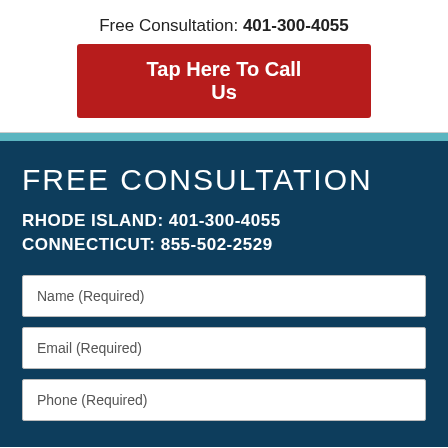Free Consultation: 401-300-4055
Tap Here To Call Us
FREE CONSULTATION
RHODE ISLAND: 401-300-4055
CONNECTICUT: 855-502-2529
Name (Required)
Email (Required)
Phone (Required)